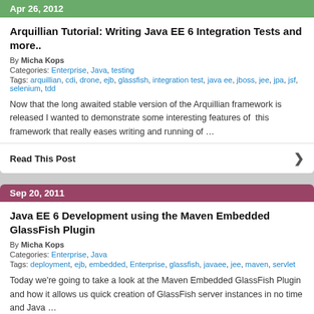Apr 26, 2012
Arquillian Tutorial: Writing Java EE 6 Integration Tests and more..
By Micha Kops
Categories: Enterprise, Java, testing
Tags: arquillian, cdi, drone, ejb, glassfish, integration test, java ee, jboss, jee, jpa, jsf, selenium, tdd
Now that the long awaited stable version of the Arquillian framework is released I wanted to demonstrate some interesting features of  this framework that really eases writing and running of …
Read This Post
Sep 20, 2011
Java EE 6 Development using the Maven Embedded GlassFish Plugin
By Micha Kops
Categories: Enterprise, Java
Tags: deployment, ejb, embedded, Enterprise, glassfish, javaee, jee, maven, servlet
Today we're going to take a look at the Maven Embedded GlassFish Plugin and how it allows us quick creation of GlassFish server instances in no time and Java …
Read This Post